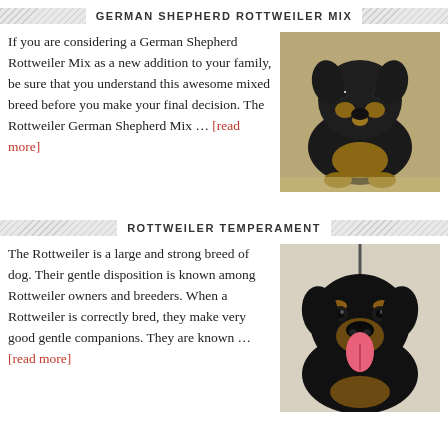GERMAN SHEPHERD ROTTWEILER MIX
If you are considering a German Shepherd Rottweiler Mix as a new addition to your family, be sure that you understand this awesome mixed breed before you make your final decision. The Rottweiler German Shepherd Mix … [read more]
[Figure (photo): A German Shepherd Rottweiler mix puppy sitting on the ground, black and tan coloring]
ROTTWEILER TEMPERAMENT
The Rottweiler is a large and strong breed of dog. Their gentle disposition is known among Rottweiler owners and breeders. When a Rottweiler is correctly bred, they make very good gentle companions. They are known … [read more]
[Figure (photo): A Rottweiler dog with tongue out, black and tan coloring, on a leash]